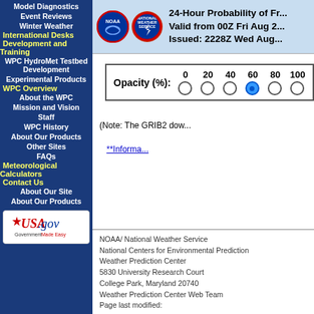Model Diagnostics
Event Reviews
Winter Weather
International Desks
Development and Training
WPC HydroMet Testbed Development
Experimental Products
WPC Overview
About the WPC
Mission and Vision
Staff
WPC History
About Our Products
Other Sites
FAQs
Meteorological Calculators
Contact Us
About Our Site
About Our Products
24-Hour Probability of Fr... Valid from 00Z Fri Aug 2... Issued: 2228Z Wed Aug...
Opacity (%): 0 20 40 60 80 100
(Note: The GRIB2 dow...
**Informa...
NOAA/ National Weather Service
National Centers for Environmental Prediction
Weather Prediction Center
5830 University Research Court
College Park, Maryland 20740
Weather Prediction Center Web Team
Page last modified: